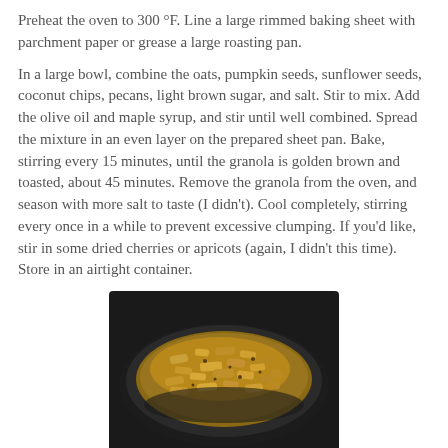Preheat the oven to 300 °F. Line a large rimmed baking sheet with parchment paper or grease a large roasting pan.
In a large bowl, combine the oats, pumpkin seeds, sunflower seeds, coconut chips, pecans, light brown sugar, and salt. Stir to mix. Add the olive oil and maple syrup, and stir until well combined. Spread the mixture in an even layer on the prepared sheet pan. Bake, stirring every 15 minutes, until the granola is golden brown and toasted, about 45 minutes. Remove the granola from the oven, and season with more salt to taste (I didn't). Cool completely, stirring every once in a while to prevent excessive clumping. If you'd like, stir in some dried cherries or apricots (again, I didn't this time). Store in an airtight container.
[Figure (photo): A dark round pan or bowl filled with golden-brown toasted granola mixture viewed from above.]